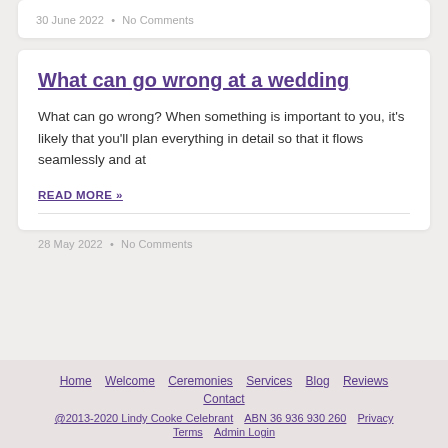30 June 2022 • No Comments
What can go wrong at a wedding
What can go wrong? When something is important to you, it's likely that you'll plan everything in detail so that it flows seamlessly and at
READ MORE »
28 May 2022 • No Comments
Home  Welcome  Ceremonies  Services  Blog  Reviews  Contact  @2013-2020 Lindy Cooke Celebrant  ABN 36 936 930 260  Privacy  Terms  Admin Login